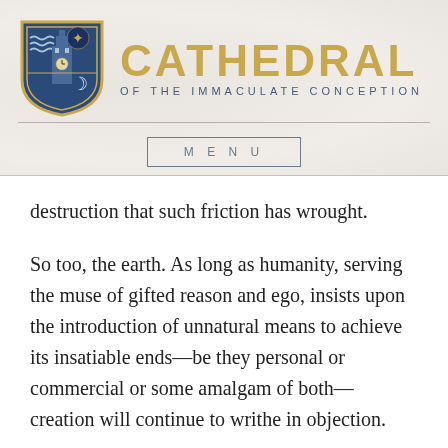[Figure (logo): Cathedral of the Immaculate Conception logo with shield emblem showing a tower, waves, moon and stars, and the text CATHEDRAL OF THE IMMACULATE CONCEPTION in gold and blue]
MENU
destruction that such friction has wrought.
So too, the earth. As long as humanity, serving the muse of gifted reason and ego, insists upon the introduction of unnatural means to achieve its insatiable ends—be they personal or commercial or some amalgam of both—creation will continue to writhe in objection.